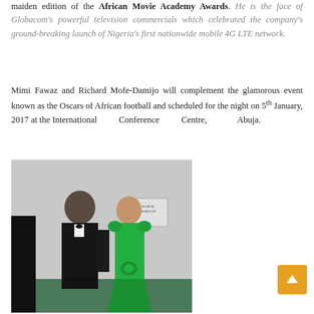maiden edition of the African Movie Academy Awards. He is the face of Globacom's powerful television commercials which celebrated the company's ground-breaking launch of Nigeria's first nationwide mobile 4G LTE network.
Mimi Fawaz and Richard Mofe-Damijo will complement the glamorous event known as the Oscars of African football and scheduled for the night on 5th January, 2017 at the International Conference Centre, Abuja.
[Figure (photo): A man in a black tuxedo with bow tie and a woman in a green off-shoulder gown posing together, with a hair and make up sign on the wall behind them.]